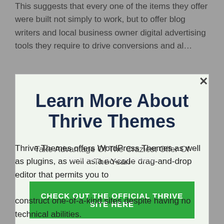This suggests that every one of the items they offer were built not simply to work, but to offer blog writers and local business owner digital advertising tools they require to drive conversions and al…
[Figure (screenshot): Modal popup overlay with title 'Learn More About Thrive Themes', subtitle 'Take Advantage Of The Craziest Offer Of The Year!', a green CTA button 'CHECK OUT THE OFFICIAL THRIVE SITE HERE', and a dismiss link 'No thanks, I'm not interested!']
Thrive Themes offers WordPress Themes as well as plugins, as well as a no-code drag-and-drop editor that permits you to construct one-of-a-kind sites despite having no technical abilities.